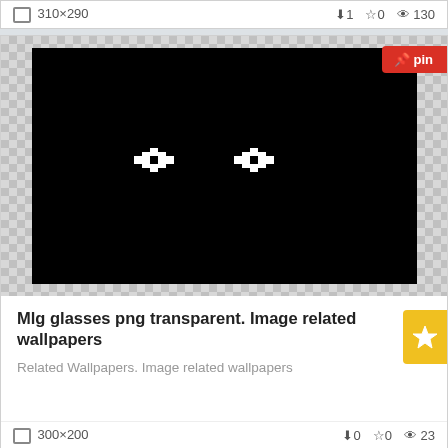310×290  ↓1  ☆0  👁 130
[Figure (photo): MLG pixel glasses image on black background with checkered transparency background]
Mlg glasses png transparent. Image related wallpapers
Related Wallpapers. Image related wallpapers
300×200  ↓0  ☆0  👁 23
Similar images by mlg glasses png transparent:
[Figure (photo): Aviator sunglasses with orange mirrored lenses on black background with checkered transparency background]